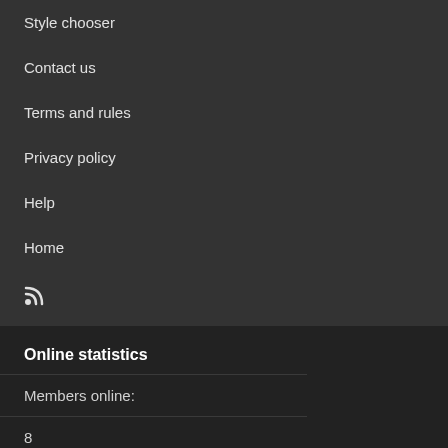Style chooser
Contact us
Terms and rules
Privacy policy
Help
Home
RSS
Online statistics
|  |  |
| --- | --- |
| Members online: | 8 |
| Guests online: | 205 |